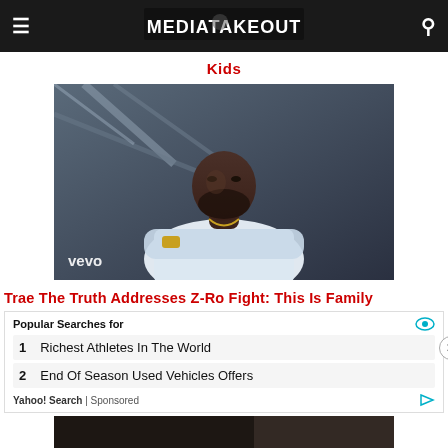MediaTakeOut
Kids
[Figure (photo): Man in white t-shirt with arms crossed standing under metal structure, Vevo watermark in lower left]
Trae The Truth Addresses Z-Ro Fight: This Is Family
Popular Searches for
1  Richest Athletes In The World
2  End Of Season Used Vehicles Offers
Yahoo! Search | Sponsored
[Figure (photo): Bottom partial image, dark tones]